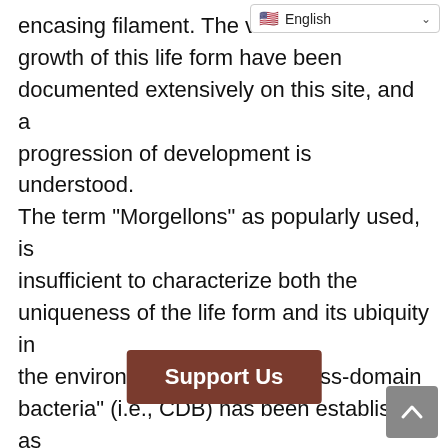encasing filament. The various stages of growth of this life form have been documented extensively on this site, and a progression of development is understood. The term "Morgellons" as popularly used, is insufficient to characterize both the uniqueness of the life form and its ubiquity in the environment. The term "cross-domain bacteria" (i.e., CDB) has been established as being intrinsic to the origin of the life form; attention has been called to the the fact that the scientific nomenclature for this 'new biology' remains woefully inadequate. Any perception that this so-called "condition" is restricted to the is false; planetary cons ors us